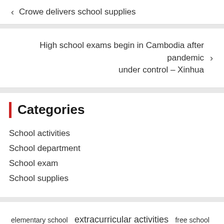‹ Crowe delivers school supplies
High school exams begin in Cambodia after pandemic under control – Xinhua ›
Categories
School activities
School department
School exam
School supplies
elementary school  extracurricular activities  free school  high school  public schools  rights reserved